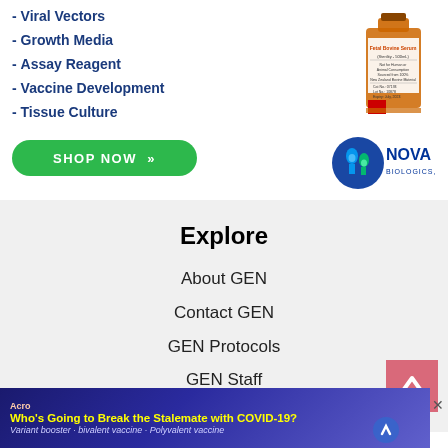- Viral Vectors
- Growth Media
- Assay Reagent
- Vaccine Development
- Tissue Culture
[Figure (photo): Fetal Bovine Serum product bottle (Sterility 500mL) from Nova Biologics, orange liquid in clear container]
[Figure (logo): Nova Biologics Inc. logo with lab flask icon]
[Figure (other): Green rounded Shop Now button with double chevron]
Explore
About GEN
Contact GEN
GEN Protocols
GEN Staff
[Figure (screenshot): Acro advertisement banner: Who's Going to Break the Stalemate with COVID-19? Variant booster - bivalent vaccine - Polyvalent vaccine]
[Figure (other): Back to top arrow button (pink/salmon square with upward caret)]